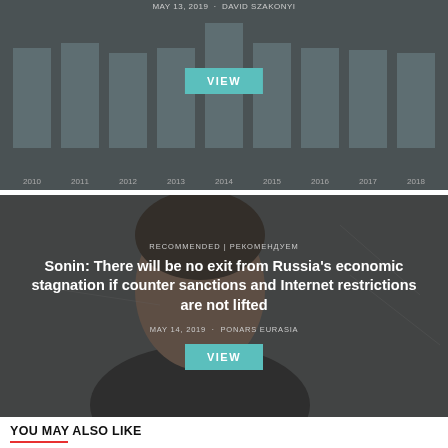[Figure (bar-chart): MAY 13, 2019 · DAVID SZAKONYI]
[Figure (photo): Recommended card with photo of a man, overlaid with article title and metadata]
RECOMMENDED | РЕКОМЕНДУЕМ
Sonin: There will be no exit from Russia's economic stagnation if counter sanctions and Internet restrictions are not lifted
MAY 14, 2019 · PONARS EURASIA
YOU MAY ALSO LIKE